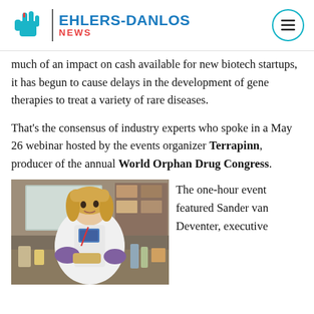EHLERS-DANLOS NEWS
much of an impact on cash available for new biotech startups, it has begun to cause delays in the development of gene therapies to treat a variety of rare diseases.
That's the consensus of industry experts who spoke in a May 26 webinar hosted by the events organizer Terrapinn, producer of the annual World Orphan Drug Congress.
[Figure (photo): A woman in a white lab coat and purple gloves working at a laboratory bench with various equipment and supplies.]
The one-hour event featured Sander van Deventer, executive